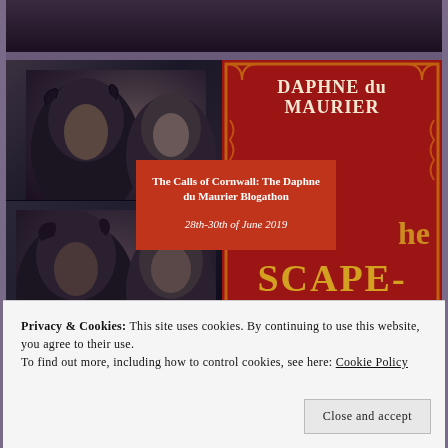[Figure (photo): Partial top image - dark background with indistinct figures]
[Figure (photo): Promotional image for The Calls of Cornwall: The Daphne du Maurier Blogathon, 28th-30th of June 2019. Left half shows black and white photo collage of two people with curly hair. Right half shows the red book cover of 'The Scapegoat' by Daphne du Maurier in gold lettering. A red overlay box in the center reads the blogathon title and dates.]
Privacy & Cookies: This site uses cookies. By continuing to use this website, you agree to their use.
To find out more, including how to control cookies, see here: Cookie Policy
Close and accept